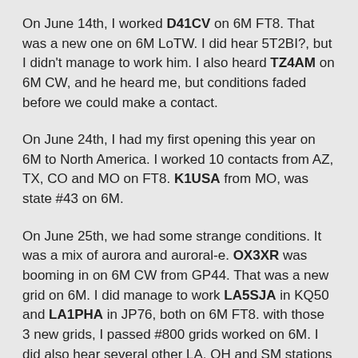On June 14th, I worked D41CV on 6M FT8. That was a new one on 6M LoTW. I did hear 5T2BI?, but I didn't manage to work him. I also heard TZ4AM on 6M CW, and he heard me, but conditions faded before we could make a contact.
On June 24th, I had my first opening this year on 6M to North America. I worked 10 contacts from AZ, TX, CO and MO on FT8. K1USA from MO, was state #43 on 6M.
On June 25th, we had some strange conditions. It was a mix of aurora and auroral-e. OX3XR was booming in on 6M CW from GP44. That was a new grid on 6M. I did manage to work LA5SJA in KQ50 and LA1PHA in JP76, both on 6M FT8. with those 3 new grids, I passed #800 grids worked on 6M. I did also hear several other LA, OH and SM stations in that opening.